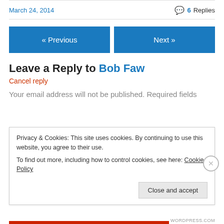March 24, 2014
6 Replies
« Previous
Next »
Leave a Reply to Bob Faw
Cancel reply
Your email address will not be published. Required fields
Privacy & Cookies: This site uses cookies. By continuing to use this website, you agree to their use.
To find out more, including how to control cookies, see here: Cookie Policy
Close and accept